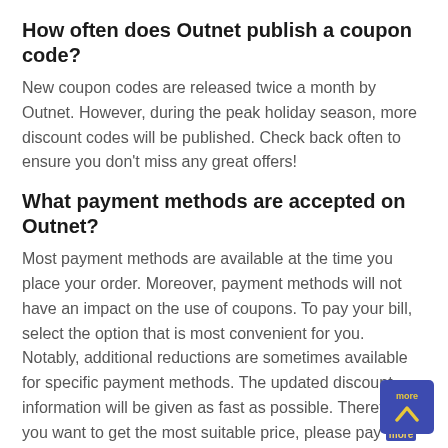How often does Outnet publish a coupon code?
New coupon codes are released twice a month by Outnet. However, during the peak holiday season, more discount codes will be published. Check back often to ensure you don't miss any great offers!
What payment methods are accepted on Outnet?
Most payment methods are available at the time you place your order. Moreover, payment methods will not have an impact on the use of coupons. To pay your bill, select the option that is most convenient for you. Notably, additional reductions are sometimes available for specific payment methods. The updated discount information will be given as fast as possible. Therefore, if you want to get the most suitable price, please pay more attention to our website!